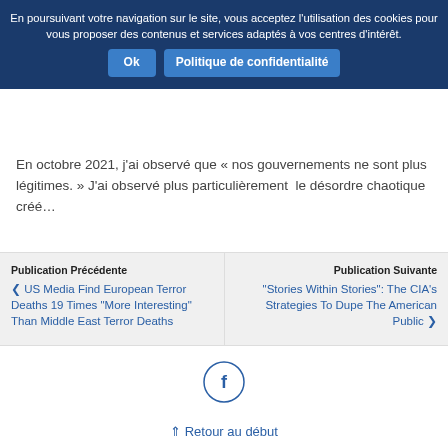En poursuivant votre navigation sur le site, vous acceptez l'utilisation des cookies pour vous proposer des contenus et services adaptés à vos centres d'intérêt.
Ok | Politique de confidentialité
En octobre 2021, j'ai observé que « nos gouvernements ne sont plus légitimes. » J'ai observé plus particulièrement le désordre chaotique créé…
Publication Précédente
US Media Find European Terror Deaths 19 Times "More Interesting" Than Middle East Terror Deaths
Publication Suivante
"Stories Within Stories": The CIA's Strategies To Dupe The American Public
[Figure (illustration): Facebook icon inside a circle outline]
⇑ Retour au début